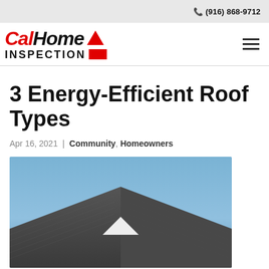📞 (916) 868-9712
[Figure (logo): CalHome Inspection logo with red Cal text, black Home text, red triangle, INSPECTION text, and red rectangle]
3 Energy-Efficient Roof Types
Apr 16, 2021 | Community, Homeowners
[Figure (photo): Photo of a house roof with dark shingles against a blue sky, showing a peaked roofline with a white triangular gable detail]